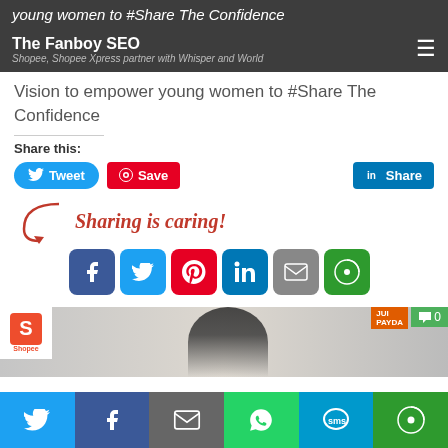young women to #Share The Confidence
The Fanboy SEO
Shopee, Shopee Xpress partner with Whisper and World Vision to empower young women to #Share The Confidence
Vision to empower young women to #Share The Confidence
Share this:
[Figure (infographic): Social media sharing buttons: Tweet (Twitter/blue), Save (Pinterest/red), Share (LinkedIn/blue)]
[Figure (infographic): Sharing is caring! graphic with arrow and social media icons: Facebook, Twitter, Pinterest, LinkedIn, Email, More]
[Figure (photo): Shopee branded image with a young woman, Shopee logo, Juicy Payday badge, and comment count badge showing 0]
Bottom share toolbar with Twitter, Facebook, Email, WhatsApp, SMS, More buttons